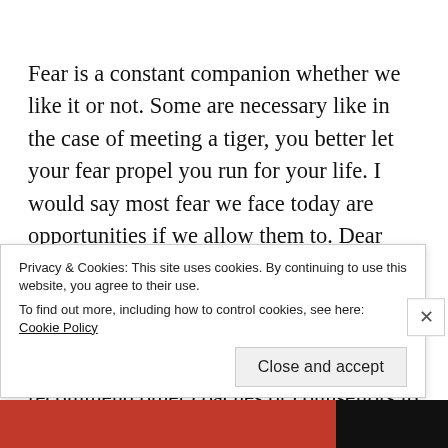Fear is a constant companion whether we like it or not. Some are necessary like in the case of meeting a tiger, you better let your fear propel you run for your life. I would say most fear we face today are opportunities if we allow them to. Dear friends, if you are having difficulty in navigating fear and are feeling stuck, do feel free to reach out to me. I run my own coaching practice and I can also recommend other coaches or counsellors to you. Know that it is my prayer for you to
Privacy & Cookies: This site uses cookies. By continuing to use this website, you agree to their use.
To find out more, including how to control cookies, see here: Cookie Policy